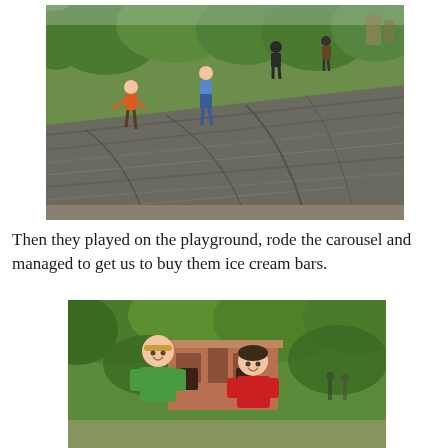[Figure (photo): Children climbing on large flat exposed rock outcroppings in a park (Central Park), with green trees in the background. A child in an orange shirt and another in blue jeans are visible climbing the rock.]
Then they played on the playground, rode the carousel and managed to get us to buy them ice cream bars.
[Figure (photo): Two children, a girl with blonde hair wearing a green shirt and a boy in a red shirt, smiling and standing in front of a brick building in a park setting with lush green trees.]